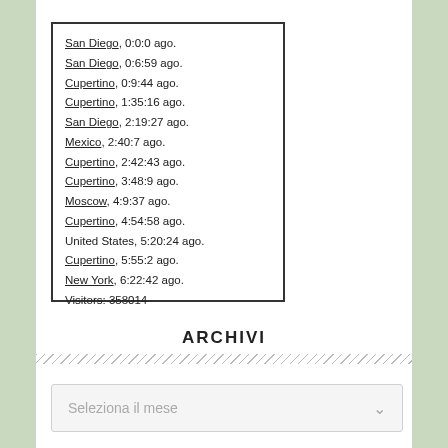San Diego, 0:0:0 ago.
San Diego, 0:6:59 ago.
Cupertino, 0:9:44 ago.
Cupertino, 1:35:16 ago.
San Diego, 2:19:27 ago.
Mexico, 2:40:7 ago.
Cupertino, 2:42:43 ago.
Cupertino, 3:48:9 ago.
Moscow, 4:9:37 ago.
Cupertino, 4:54:58 ago.
United States, 5:20:24 ago.
Cupertino, 5:55:2 ago.
New York, 6:22:42 ago.
Visitors: 358014
ARCHIVI
Seleziona il mese